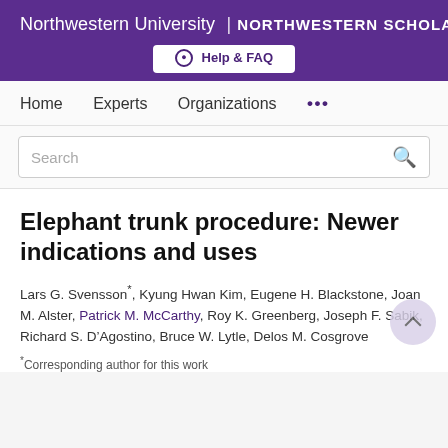Northwestern University | NORTHWESTERN SCHOLARS
Help & FAQ
Home   Experts   Organizations   ...
Search
Elephant trunk procedure: Newer indications and uses
Lars G. Svensson*, Kyung Hwan Kim, Eugene H. Blackstone, Joan M. Alster, Patrick M. McCarthy, Roy K. Greenberg, Joseph F. Sabik, Richard S. D’Agostino, Bruce W. Lytle, Delos M. Cosgrove
* Corresponding author for this work